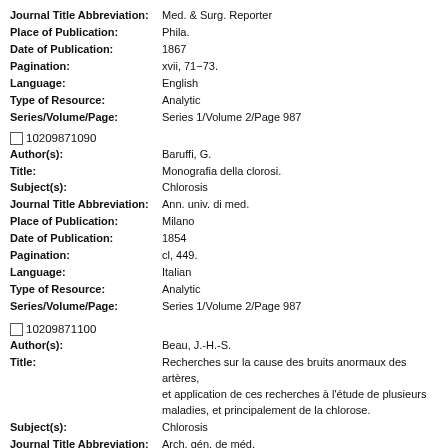Journal Title Abbreviation: Med. & Surg. Reporter
Place of Publication: Phila.
Date of Publication: 1867
Pagination: xvii, 71-73.
Language: English
Type of Resource: Analytic
Series/Volume/Page: Series 1/Volume 2/Page 987
10209871090
Author(s): Baruffi, G.
Title: Monografia della clorosi.
Subject(s): Chlorosis
Journal Title Abbreviation: Ann. univ. di med.
Place of Publication: Milano
Date of Publication: 1854
Pagination: cl, 449.
Language: Italian
Type of Resource: Analytic
Series/Volume/Page: Series 1/Volume 2/Page 987
10209871100
Author(s): Beau, J.-H.-S.
Title: Recherches sur la cause des bruits anormaux des artères, et application de ces recherches à l'étude de plusieurs maladies, et principalement de la chlorose.
Subject(s): Chlorosis
Journal Title Abbreviation: Arch. gén. de méd.
Place of Publication: Par.
Date of Publication: 1838
Pagination: i, 137-154.